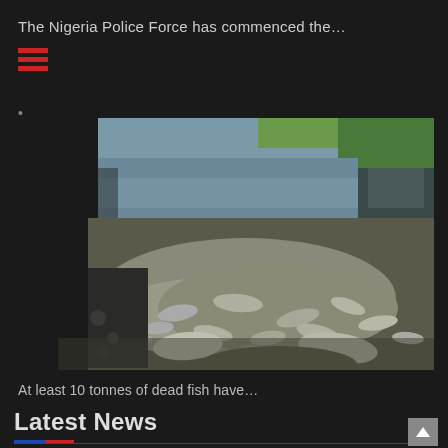The Nigeria Police Force has commenced the…
[Figure (photo): Large mass of dead fish washed up along a waterway or canal bank, with water visible in the background and a bridge or structure visible in the far background.]
At least 10 tonnes of dead fish have…
Latest News